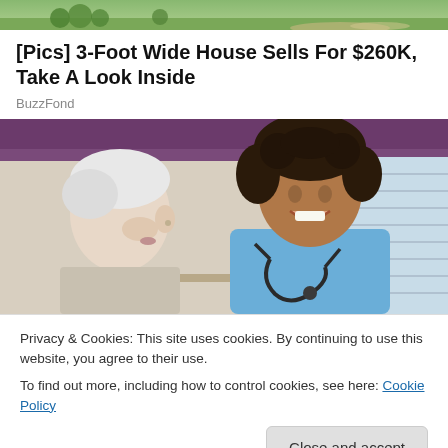[Figure (photo): Top portion of an outdoor photo showing green grass and a garden path, partially visible at the top of the page.]
[Pics] 3-Foot Wide House Sells For $260K, Take A Look Inside
BuzzFond
[Figure (photo): A smiling female nurse or healthcare worker in blue scrubs with a stethoscope, sitting across from an elderly patient with white hair. Purple curtains and a window are visible in the background.]
Privacy & Cookies: This site uses cookies. By continuing to use this website, you agree to their use.
To find out more, including how to control cookies, see here: Cookie Policy
Close and accept